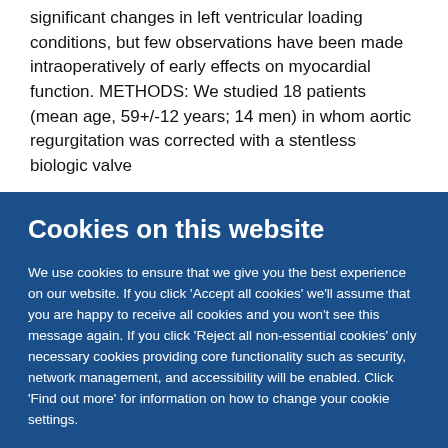significant changes in left ventricular loading conditions, but few observations have been made intraoperatively of early effects on myocardial function. METHODS: We studied 18 patients (mean age, 59+/-12 years; 14 men) in whom aortic regurgitation was corrected with a stentless biologic valve
Cookies on this website
We use cookies to ensure that we give you the best experience on our website. If you click 'Accept all cookies' we'll assume that you are happy to receive all cookies and you won't see this message again. If you click 'Reject all non-essential cookies' only necessary cookies providing core functionality such as security, network management, and accessibility will be enabled. Click 'Find out more' for information on how to change your cookie settings.